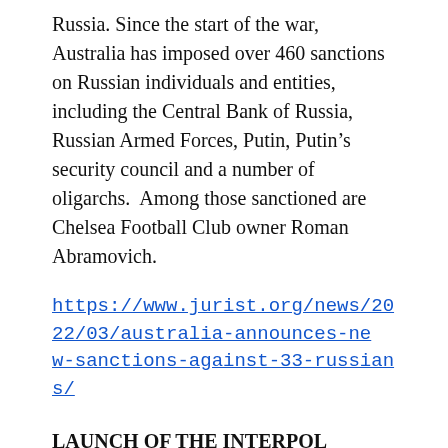Russia. Since the start of the war, Australia has imposed over 460 sanctions on Russian individuals and entities, including the Central Bank of Russia, Russian Armed Forces, Putin, Putin’s security council and a number of oligarchs.  Among those sanctioned are Chelsea Football Club owner Roman Abramovich.
https://www.jurist.org/news/2022/03/australia-announces-new-sanctions-against-33-russians/
LAUNCH OF THE INTERPOL FINANCIAL CRIME AND ANTI-CORRUPTION CENTRE (IFCACC)